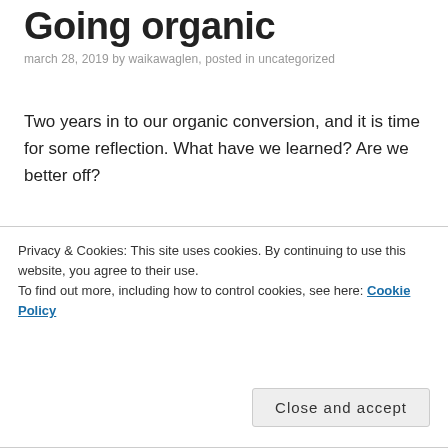Going organic
march 28, 2019 by waikawaglen, posted in uncategorized
Two years in to our organic conversion, and it is time for some reflection. What have we learned? Are we better off?
Our greatest fear was that going organic would overwhelm us with additional weeding. The reality has been that the WWOOF (willing workers on organic farms) scheme has made the transition manageable, and we have met many lovely young people from
Privacy & Cookies: This site uses cookies. By continuing to use this website, you agree to their use.
To find out more, including how to control cookies, see here: Cookie Policy
Close and accept
and diets have changed to more being grasses and